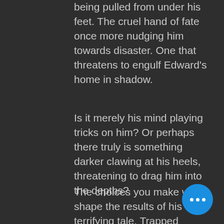being pulled from under his feet. The cruel hand of fate once more nudging him towards disaster. One that threatens to engulf Edward's home in shadow.
Is it merely his mind playing tricks on him? Or perhaps there truly is something darker clawing at his heels, threatening to drag him into the depths?
The choices you make will shape the results of his terrifying tale. Trapped between a world of horrors inspired by the works of ones such as H.R. Giger, and the unkind reality of the body farm from whence he came. Survive a twofold nightmare in Dark Fracture!